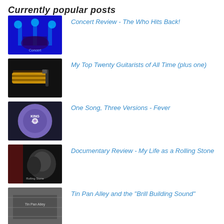Currently popular posts
Concert Review - The Who Hits Back!
My Top Twenty Guitarists of All Time (plus one)
One Song, Three Versions - Fever
Documentary Review - My Life as a Rolling Stone
Tin Pan Alley and the "Brill Building Sound"